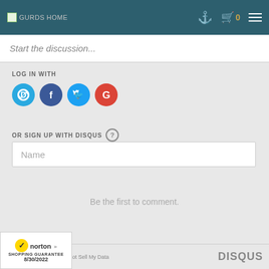GURDS HOME — navigation bar with search, cart (0), and menu
Start the discussion...
LOG IN WITH
[Figure (infographic): Four social login buttons: Disqus (blue D), Facebook (dark blue f), Twitter (light blue bird), Google (red G)]
OR SIGN UP WITH DISQUS ?
Name
Be the first to comment.
Add Disqus  Do Not Sell My Data  DISQUS
[Figure (logo): Norton Shopping Guarantee badge — checkmark logo, 8/30/2022]